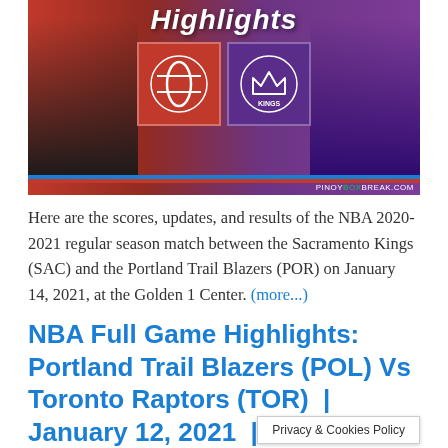[Figure (photo): NBA highlights banner image showing Portland Trail Blazers vs Sacramento Kings matchup with two players on either side and team logos in the center. Text 'Highlights' in bold italic at top. Website watermark 'PINOYBOXBREAK.COM' at bottom right. Blue and red bars at bottom.]
Here are the scores, updates, and results of the NBA 2020-2021 regular season match between the Sacramento Kings (SAC) and the Portland Trail Blazers (POR) on January 14, 2021, at the Golden 1 Center. (more...)
NBA Full Game Highlights: Portland Trail Blazers (POL) Vs Toronto Raptors (TOR) | January 12, 2021 | 2020-2021 NBA Season